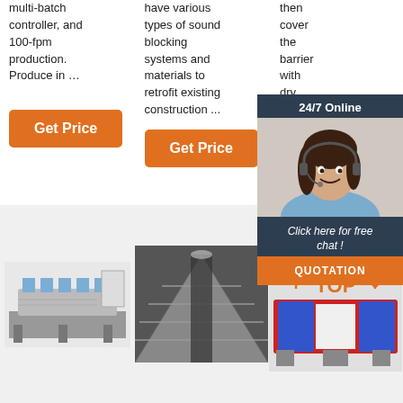multi-batch controller, and 100-fpm production. Produce in …
have various types of sound blocking systems and materials to retrofit existing construction ...
then cover the barrier with dry wall or wood panel as o... Tamil... T831... using... Locti...
Get Price
Get Price
Get Price
24/7 Online
Click here for free chat !
QUOTATION
[Figure (photo): Industrial machine with multiple heads, blue and grey]
[Figure (photo): Industrial metal sheets or rails in grey tones, overhead view]
[Figure (photo): Red and blue industrial machine with TOP badge overlay]